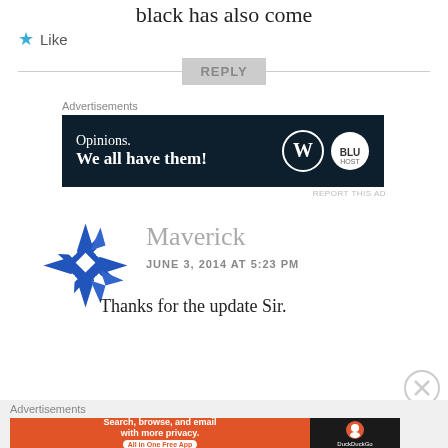black has also come
★ Like
REPLY
Advertisements
[Figure (screenshot): WordPress advertisement banner: 'Opinions. We all have them!' with WordPress and WM logos on dark navy background]
REPORT THIS AD
[Figure (logo): Blue ninja star / shuriken avatar icon for commenter Maverick]
Maverick
JUNE 3, 2014 AT 5:23 PM
Thanks for the update Sir.
Advertisements
[Figure (screenshot): DuckDuckGo advertisement: 'Search, browse, and email with more privacy. All in One Free App' on orange background with DuckDuckGo logo]